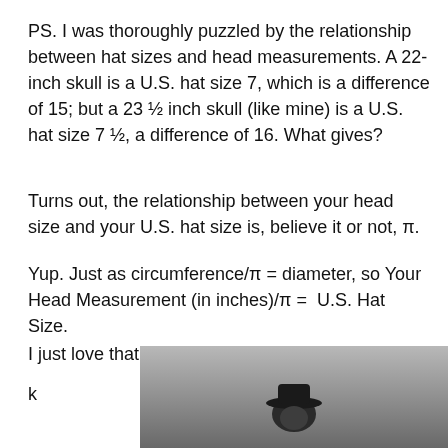PS. I was thoroughly puzzled by the relationship between hat sizes and head measurements. A 22-inch skull is a U.S. hat size 7, which is a difference of 15; but a 23 ½ inch skull (like mine) is a U.S. hat size 7 ½, a difference of 16. What gives?
Turns out, the relationship between your head size and your U.S. hat size is, believe it or not, π.
Yup. Just as circumference/π = diameter, so Your Head Measurement (in inches)/π =  U.S. Hat Size.
I just love that.
k
[Figure (photo): Black and white photo showing a person wearing a hat, cropped at the bottom of the page]